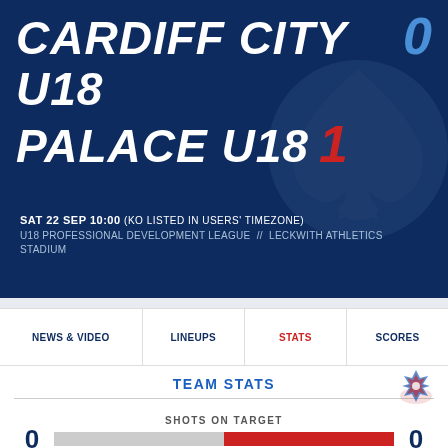CARDIFF CITY U18 0 / PALACE U18 1
SAT 22 SEP 10:00 (KO LISTED IN USERS' TIMEZONE)
U18 PROFESSIONAL DEVELOPMENT LEAGUE  //  LECKWITH ATHLETICS STADIUM
NEWS & VIDEO | LINEUPS | STATS | SCORES
TEAM STATS
SHOTS ON TARGET
0 (Cardiff City U18) | 0 (Palace U18)